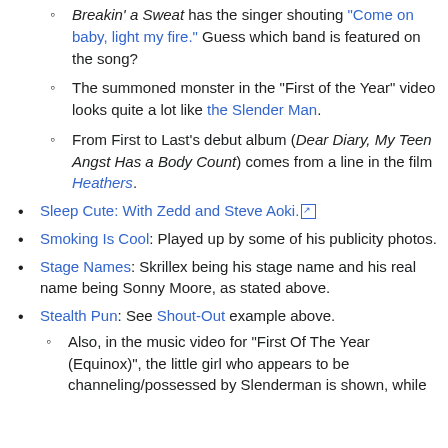Breakin' a Sweat has the singer shouting "Come on baby, light my fire." Guess which band is featured on the song?
The summoned monster in the "First of the Year" video looks quite a lot like the Slender Man.
From First to Last's debut album (Dear Diary, My Teen Angst Has a Body Count) comes from a line in the film Heathers.
Sleep Cute: With Zedd and Steve Aoki.
Smoking Is Cool: Played up by some of his publicity photos.
Stage Names: Skrillex being his stage name and his real name being Sonny Moore, as stated above.
Stealth Pun: See Shout-Out example above.
Also, in the music video for "First Of The Year (Equinox)", the little girl who appears to be channeling/possessed by Slenderman is shown, while